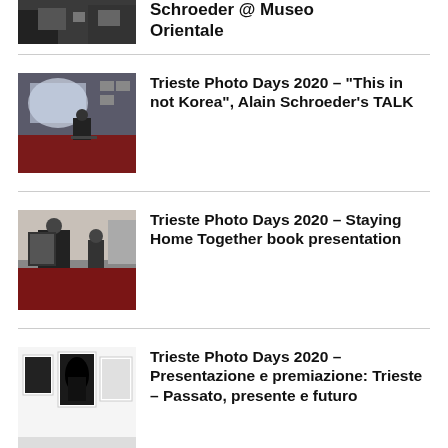[Figure (photo): Partial photo of a dark exhibition room with framed photos on wall]
Schroeder @ Museo Orientale
[Figure (photo): Photo of person presenting at a screen projection in a room with red carpet]
Trieste Photo Days 2020 – "This in not Korea", Alain Schroeder's TALK
[Figure (photo): Photo of people at a book presentation event with red carpet]
Trieste Photo Days 2020 – Staying Home Together book presentation
[Figure (photo): Photo of exhibition with black and white prints on white walls]
Trieste Photo Days 2020 – Presentazione e premiazione: Trieste – Passato, presente e futuro
[Figure (photo): Partial photo showing Trieste Photo Days 2020 printed materials and signage]
Trieste Photo Days 2020 – Presentation Trieste Photo Days...